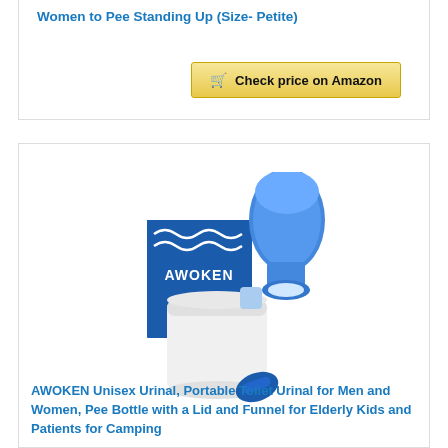Women to Pee Standing Up (Size- Petite)
Check price on Amazon
BESTSELLER NO. 9
[Figure (photo): AWOKEN Unisex Urinal product photo showing blue funnel device, clear bottle, and product packaging box with AWOKEN branding]
AWOKEN Unisex Urinal, Portable Toilet Urinal for Men and Women, Pee Bottle with a Lid and Funnel for Elderly Kids and Patients for Camping